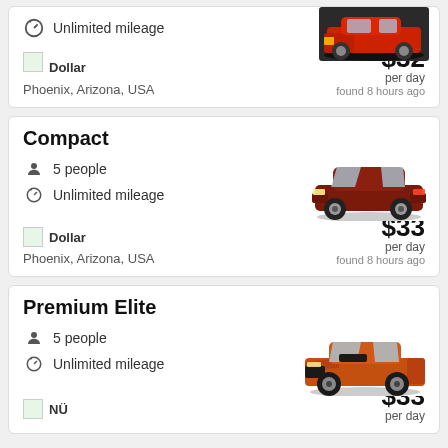[Figure (photo): Red SUV car image at top right (partial card)]
Unlimited mileage
[Figure (logo): Dollar rental car logo (green flag icon)]
Phoenix, Arizona, USA
$32 per day, found 8 hours ago
Compact
5 people
Unlimited mileage
[Figure (photo): Dark red/maroon compact hatchback car (Nissan Fit style)]
[Figure (logo): Dollar rental car logo (green flag icon)]
Phoenix, Arizona, USA
$33 per day, found 8 hours ago
Premium Elite
5 people
Unlimited mileage
[Figure (photo): Orange Dodge Charger muscle car]
[Figure (logo): NÜ rental car logo (green flag icon)]
$33 per day